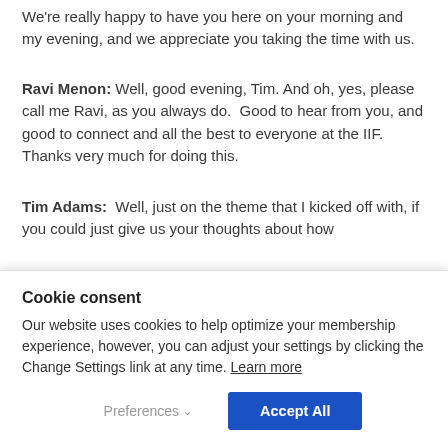We're really happy to have you here on your morning and my evening, and we appreciate you taking the time with us.
Ravi Menon: Well, good evening, Tim. And oh, yes, please call me Ravi, as you always do.  Good to hear from you, and good to connect and all the best to everyone at the IIF.  Thanks very much for doing this.
Tim Adams:  Well, just on the theme that I kicked off with, if you could just give us your thoughts about how
Cookie consent
Our website uses cookies to help optimize your membership experience, however, you can adjust your settings by clicking the Change Settings link at any time. Learn more